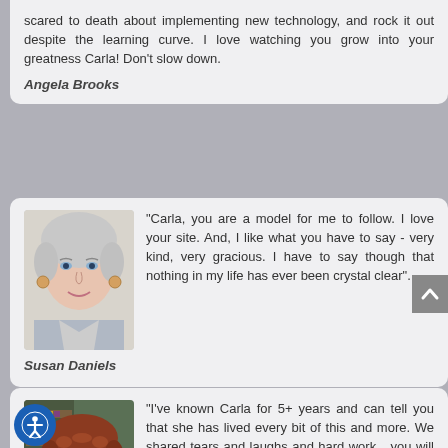scared to death about implementing new technology, and rock it out despite the learning curve. I love watching you grow into your greatness Carla! Don't slow down.
Angela Brooks
[Figure (photo): Photo of Susan Daniels, an older woman with short white/silver hair, smiling]
"Carla, you are a model for me to follow. I love your site. And, I like what you have to say - very kind, very gracious. I have to say though that nothing in my life has ever been crystal clear".
Susan Daniels
[Figure (photo): Photo of Rachel Williamson, a woman with short reddish-brown hair and glasses]
"I've known Carla for 5+ years and can tell you that she has lived every bit of this and more. We shared tears and laughs and hard work....you will enjoy getting to know Carla."
Rachel Williamson